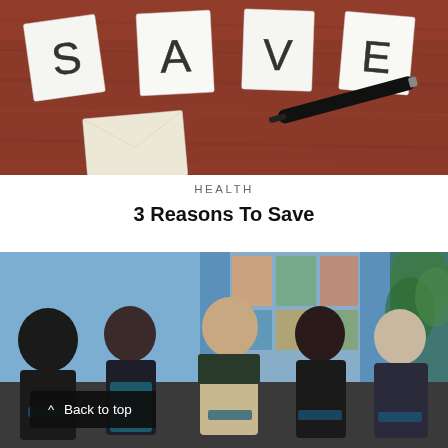[Figure (photo): Photo of paper cards spelling out S-A-V-E arranged on a red/brown wooden surface with a black marker nearby]
HEALTH
3 Reasons To Save
[Figure (photo): Photo of a panel discussion with five people seated in an office/conference space with colorful photo banners in the background, and a 'Back to top' button overlay at lower left]